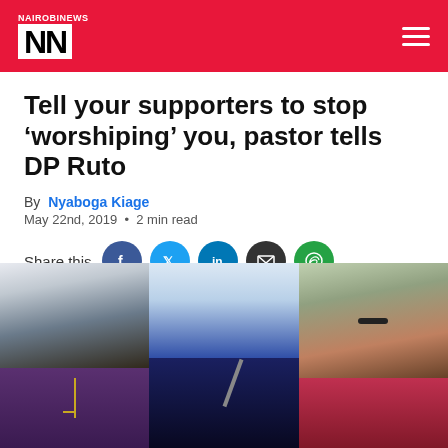NAIROBI NEWS - NN
Tell your supporters to stop ‘worshiping’ you, pastor tells DP Ruto
By Nyaboga Kiage
May 22nd, 2019 • 2 min read
Share this
[Figure (photo): Three people: a pastor in clerical robes with a cross necklace (left), DP Ruto in a suit speaking into a microphone (center), and a woman wearing glasses at a microphone (right)]